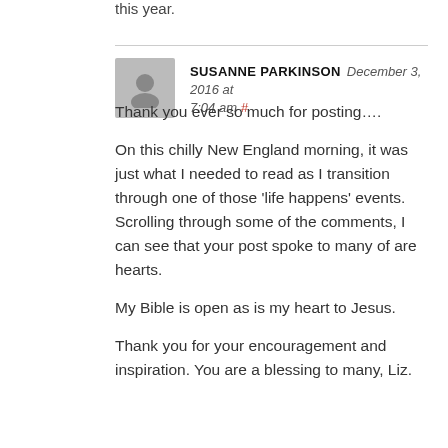this year.
SUSANNE PARKINSON  December 3, 2016 at 7:04 am #
Thank you ever so much for posting….
On this chilly New England morning, it was just what I needed to read as I transition through one of those 'life happens' events. Scrolling through some of the comments, I can see that your post spoke to many of are hearts.
My Bible is open as is my heart to Jesus.
Thank you for your encouragement and inspiration. You are a blessing to many, Liz.